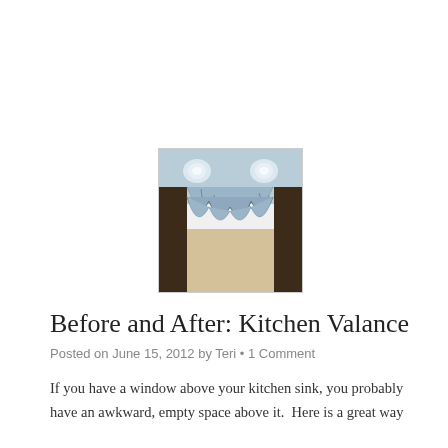[Figure (photo): A kitchen window with a decorative blue and white fabric valance draped in swag style above a window frame, with recessed ceiling lights visible above.]
Before and After: Kitchen Valance
Posted on June 15, 2012 by Teri • 1 Comment
If you have a window above your kitchen sink, you probably have an awkward, empty space above it.  Here is a great way